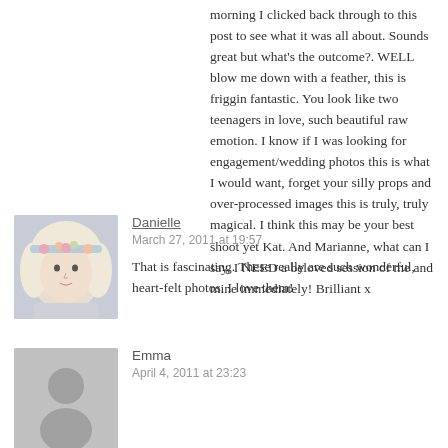morning I clicked back through to this post to see what it was all about. Sounds great but what's the outcome?. WELL blow me down with a feather, this is friggin fantastic. You look like two teenagers in love, such beautiful raw emotion. I know if I was looking for engagement/wedding photos this is what I would want, forget your silly props and over-processed images this is truly, truly magical. I think this may be your best shoot yet Kat. And Marianne, what can I say, I NEED a beloved session of me and mine immediately! Brilliant x
[Figure (photo): Avatar photo of Danielle - woman with light blonde hair and floral headband]
Danielle
March 27, 2011 at 19:57
That is fascinating. These really are such wonderful, heart-felt photos. I love them!
[Figure (photo): Generic user avatar placeholder - grey circle silhouette on grey background]
Emma
April 4, 2011 at 23:23